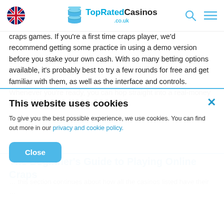TopRatedCasinos .co.uk
craps games. If you're a first time craps player, we'd recommend getting some practice in using a demo version before you stake your own cash. With so many betting options available, it's probably best to try a few rounds for free and get familiar with them, as well as the interface and controls. Whenever you're ready, you can hop straight into a real-money game!
The Beginner's Guide to Playing Online Craps
This website uses cookies
To give you the best possible experience, we use cookies. You can find out more in our privacy and cookie policy.